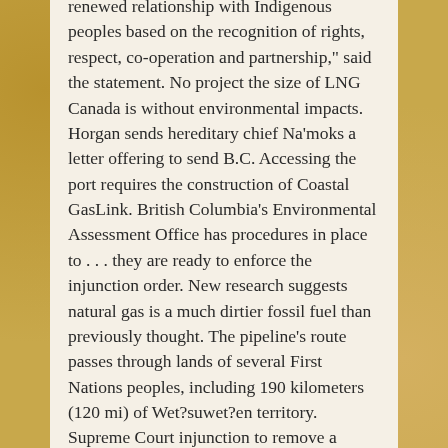renewed relationship with Indigenous peoples based on the recognition of rights, respect, co-operation and partnership," said the statement. No project the size of LNG Canada is without environmental impacts. Horgan sends hereditary chief Na'moks a letter offering to send B.C. Accessing the port requires the construction of Coastal GasLink. British Columbia's Environmental Assessment Office has procedures in place to . . . they are ready to enforce the injunction order. New research suggests natural gas is a much dirtier fossil fuel than previously thought. The pipeline's route passes through lands of several First Nations peoples, including 190 kilometers (120 mi) of Wet?suwet?en territory. Supreme Court injunction to remove a barrier that was blocking a service road that would be used for construction of the Coastal GasLink pipeline project. "We are the title holders, and the province must